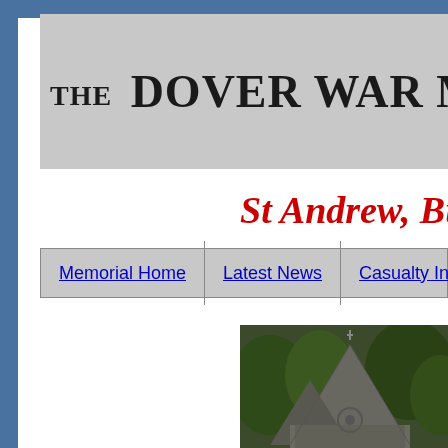THE DOVER WAR MEMO
St Andrew, Bu
| Memorial Home | Latest News | Casualty Index |
| --- | --- | --- |
[Figure (photo): Photograph of a church building, St Andrew, showing stone roof with a cross at the apex, surrounded by green foliage/trees. View from below looking up at the roofline.]